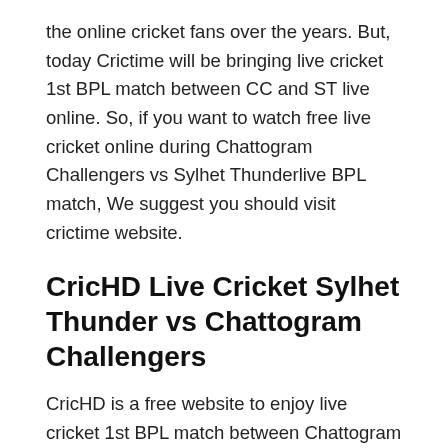the online cricket fans over the years. But, today Crictime will be bringing live cricket 1st BPL match between CC and ST live online. So, if you want to watch free live cricket online during Chattogram Challengers vs Sylhet Thunderlive BPL match, We suggest you should visit crictime website.
CricHD Live Cricket Sylhet Thunder vs Chattogram Challengers
CricHD is a free website to enjoy live cricket 1st BPL match between Chattogram Challengers and Sylhet Thunder. So, if you are looking for free online live sites to watch CC vs ST, we advise you to visit CricHD site to enjoy this match.